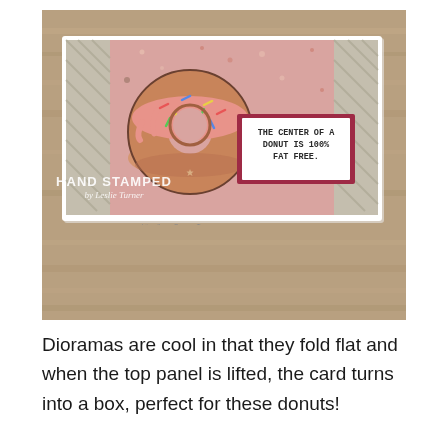[Figure (photo): A hand-stamped diorama card lying flat on a wooden surface. The card has a dusty pink background with a large illustrated donut (pink frosting with sprinkles) on the left side and a dark red/crimson bordered sign on the right reading 'THE CENTER OF A DONUT IS 100% FAT FREE.' Decorative diagonal-stripe panels appear on the left and right edges. The card has a 'HAND STAMPED by Leslie Turner' watermark at the bottom left, with a website URL below.]
Dioramas are cool in that they fold flat and when the top panel is lifted, the card turns into a box, perfect for these donuts!